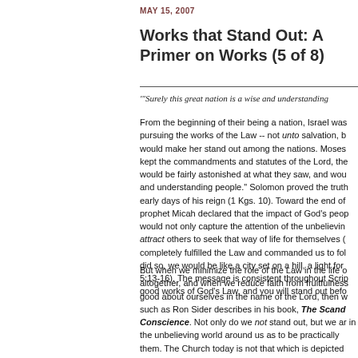MAY 15, 2007
Works that Stand Out: A Primer on Works (5 of 8)
"'Surely this great nation is a wise and understanding
From the beginning of their being a nation, Israel was pursuing the works of the Law -- not unto salvation, b would make her stand out among the nations. Moses kept the commandments and statutes of the Lord, the would be fairly astonished at what they saw, and wou and understanding people." Solomon proved the truth early days of his reign (1 Kgs. 10). Toward the end of prophet Micah declared that the impact of God's peop would not only capture the attention of the unbelievin attract others to seek that way of life for themselves ( completely fulfilled the Law and commanded us to fol did so, we would be like a city set on a hill, a light for 5:13-16). The message is consistent throughout Scrip good works of God's Law, and you will stand out befo
But when we minimize the role of the Law in the life o altogether, and when we reduce faith from fruitfulness good about ourselves in the name of the Lord, then w such as Ron Sider describes in his book, The Scand Conscience. Not only do we not stand out, but we ar in the unbelieving world around us as to be practically them. The Church today is not that which is depicted